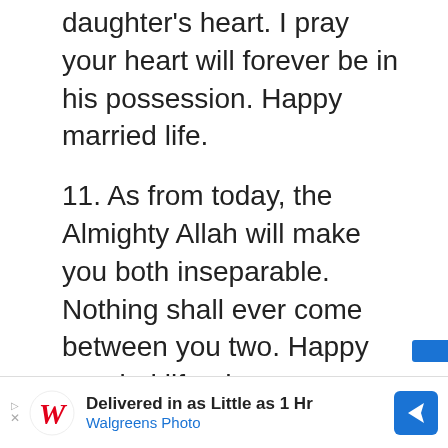daughter's heart. I pray your heart will forever be in his possession. Happy married life.
11. As from today, the Almighty Allah will make you both inseparable. Nothing shall ever come between you two. Happy married life, dear.
12. Congratulations on your wedding, dear daughter. May Allah make this man become your best friend, father, husband, and companion. Happy married life.
13. Joy overflow in my heart of heart today as I
[Figure (other): Walgreens Photo advertisement banner: 'Delivered in as Little as 1 Hr' with Walgreens logo and blue navigation icon]